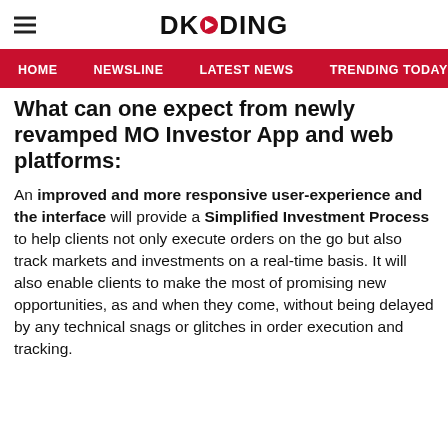DKODING
HOME | NEWSLINE | LATEST NEWS | TRENDING TODAY | ENT
What can one expect from newly revamped MO Investor App and web platforms:
An improved and more responsive user-experience and the interface will provide a Simplified Investment Process to help clients not only execute orders on the go but also track markets and investments on a real-time basis. It will also enable clients to make the most of promising new opportunities, as and when they come, without being delayed by any technical snags or glitches in order execution and tracking.